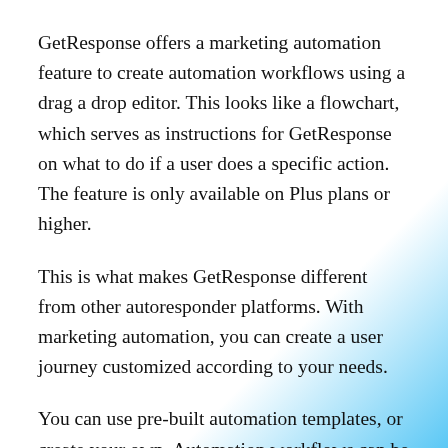GetResponse offers a marketing automation feature to create automation workflows using a drag a drop editor. This looks like a flowchart, which serves as instructions for GetResponse on what to do if a user does a specific action. The feature is only available on Plus plans or higher.
This is what makes GetResponse different from other autoresponder platforms. With marketing automation, you can create a user journey customized according to your needs.
You can use pre-built automation templates, or create your own. Automation workflows can be created for lead qualification, retention, engagement, and post-purchase notifications. You can also create abandoned cart triggers. Webinars and online courses are available. Sales promotion is possible.